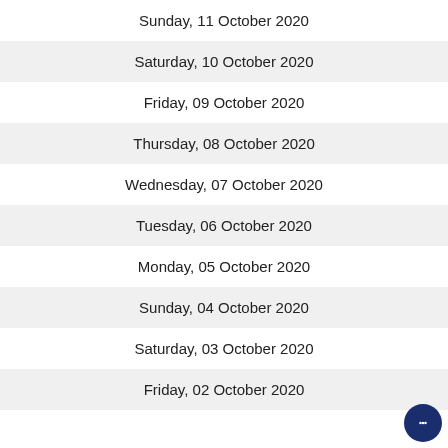Sunday, 11 October 2020
Saturday, 10 October 2020
Friday, 09 October 2020
Thursday, 08 October 2020
Wednesday, 07 October 2020
Tuesday, 06 October 2020
Monday, 05 October 2020
Sunday, 04 October 2020
Saturday, 03 October 2020
Friday, 02 October 2020